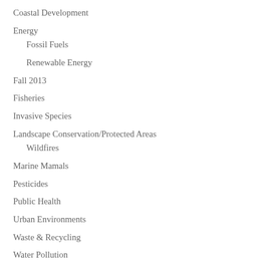Coastal Development
Energy
Fossil Fuels
Renewable Energy
Fall 2013
Fisheries
Invasive Species
Landscape Conservation/Protected Areas
Wildfires
Marine Mamals
Pesticides
Public Health
Urban Environments
Waste & Recycling
Water Pollution
Wildlife